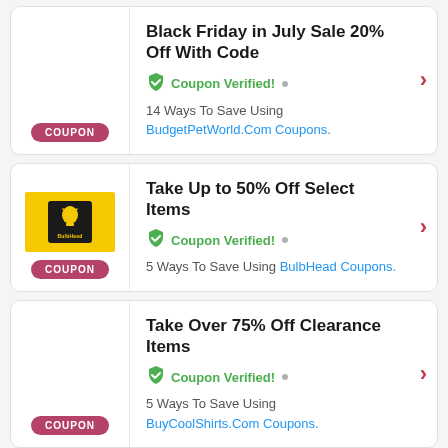Black Friday in July Sale 20% Off With Code — Coupon Verified! — 14 Ways To Save Using BudgetPetWorld.Com Coupons.
Take Up to 50% Off Select Items — Coupon Verified! — 5 Ways To Save Using BulbHead Coupons.
Take Over 75% Off Clearance Items — Coupon Verified! — 5 Ways To Save Using BuyCoolShirts.Com Coupons.